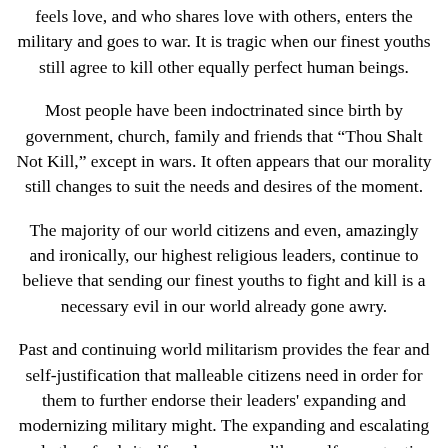feels love, and who shares love with others, enters the military and goes to war. It is tragic when our finest youths still agree to kill other equally perfect human beings.
Most people have been indoctrinated since birth by government, church, family and friends that “Thou Shalt Not Kill,” except in wars. It often appears that our morality still changes to suit the needs and desires of the moment.
The majority of our world citizens and even, amazingly and ironically, our highest religious leaders, continue to believe that sending our finest youths to fight and kill is a necessary evil in our world already gone awry.
Past and continuing world militarism provides the fear and self-justification that malleable citizens need in order for them to further endorse their leaders' expanding and modernizing military might. The expanding and escalating cycle thus feeds itself and prospers, like a self-perpetuating social and moral virus allowed to further drain our global health and wealth.
The majority of our world citizens, led by leaders of nations, movements and religions, continue to forget that this social and moral virus is reversible, is curable and is not yet